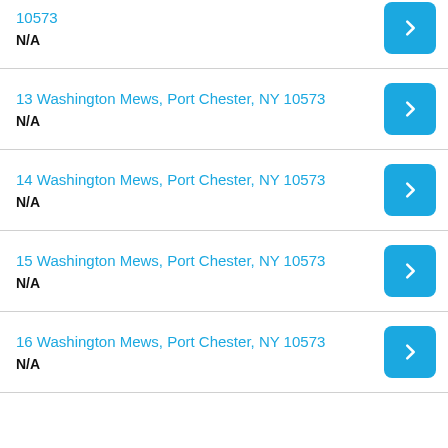10573
N/A
13 Washington Mews, Port Chester, NY 10573
N/A
14 Washington Mews, Port Chester, NY 10573
N/A
15 Washington Mews, Port Chester, NY 10573
N/A
16 Washington Mews, Port Chester, NY 10573
N/A